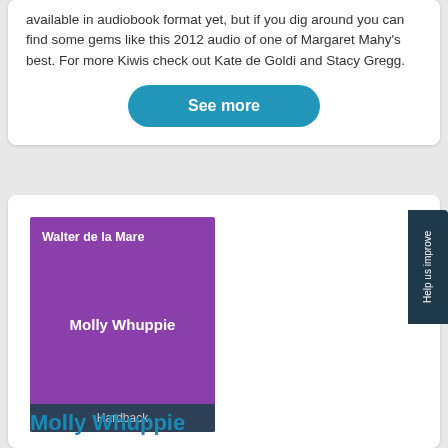available in audiobook format yet, but if you dig around you can find some gems like this 2012 audio of one of Margaret Mahy's best. For more Kiwis check out Kate de Goldi and Stacy Gregg.
See more
[Figure (illustration): Book cover for 'Molly Whuppie' by Walter de la Mare, purple background with author name at top, title in center, and 'Hardback' label at bottom in dark blue]
Molly Whuppie